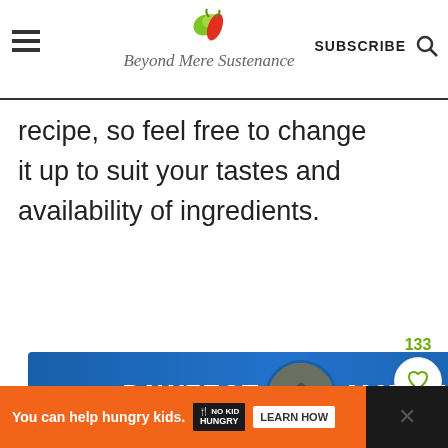Beyond Mere Sustenance | SUBSCRIBE
recipe, so feel free to change it up to suit your tastes and availability of ingredients.
[Figure (other): PAWFECT MATCH advertisement banner with blue background, cat image in center circle, bold white italic text]
[Figure (other): Side interaction bar with 133 likes count, heart icons in outline and green filled circles, 777 count, share button]
[Figure (other): Bottom orange advertisement bar: 'You can help hungry kids.' with No Kid Hungry badge, Learn How button, close X, and dark panel on right]